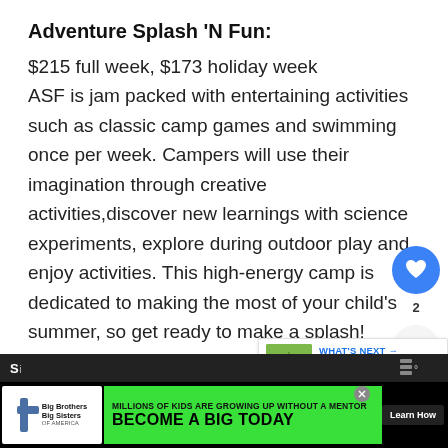Adventure Splash 'N Fun:
$215 full week, $173 holiday week
ASF is jam packed with entertaining activities such as classic camp games and swimming once per week. Campers will use their imagination through creative activities,discover new learnings with science experiments, explore during outdoor play and enjoy activities. This high-energy camp is dedicated to making the most of your child's summer, so get ready to make a splash!
[Figure (screenshot): Social media interaction overlay with heart/like button showing count of 2 and a share button]
[Figure (screenshot): What's Next promotional card showing 'The Best Strawberry...' with thumbnail image]
[Figure (screenshot): Advertisement banner: Big Brothers Big Sisters - Millions of kids are growing up without a mentor. Become a Big Today. Learn How.]